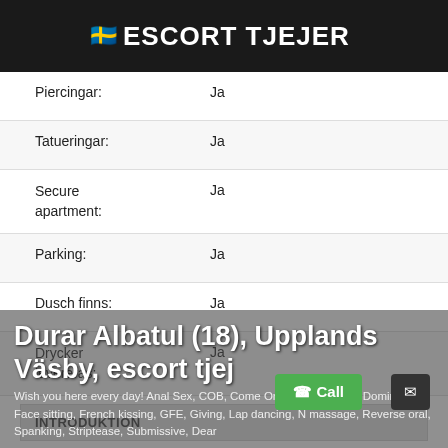ESCORT TJEJER
| Label | Value |
| --- | --- |
| Piercingar: | Ja |
| Tatueringar: | Ja |
| Secure apartment: | Ja |
| Parking: | Ja |
| Dusch finns: | Ja |
| Drycker levereras: | Ja |
INTRODUKTION
Wish you here every day! Anal Sex, COB, Come On Body, Couples, Domination, Face sitting, French kissing, GFE, Giving, Lap dancing, N massage, Reverse oral, Spanking, Striptease, Submissive, Dear
Durar Albatul (18), Upplands Väsby, escort tjej